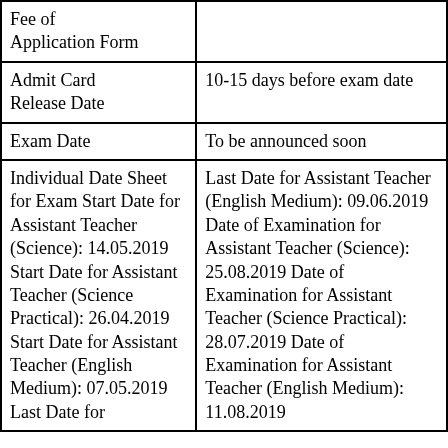|  |  |
| --- | --- |
| Fee of Application Form |  |
| Admit Card Release Date | 10-15 days before exam date |
| Exam Date | To be announced soon |
| Individual Date Sheet for Exam Start Date for Assistant Teacher (Science): 14.05.2019 Start Date for Assistant Teacher (Science Practical): 26.04.2019 Start Date for Assistant Teacher (English Medium): 07.05.2019 Last Date for | Last Date for Assistant Teacher (English Medium): 09.06.2019 Date of Examination for Assistant Teacher (Science): 25.08.2019 Date of Examination for Assistant Teacher (Science Practical): 28.07.2019 Date of Examination for Assistant Teacher (English Medium): 11.08.2019 |